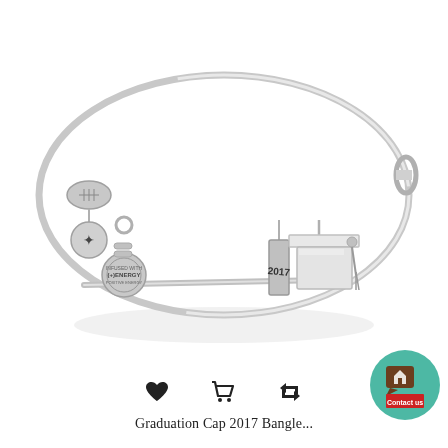[Figure (photo): Silver charm bangle bracelet with multiple charms including a graduation cap with 2017 tag, cross/skull charm, round engraved charms, and other decorative elements. Alex and Ani style adjustable wire bangle in silver finish.]
♥  🛒  🔃
Graduation Cap 2017 Bangle...